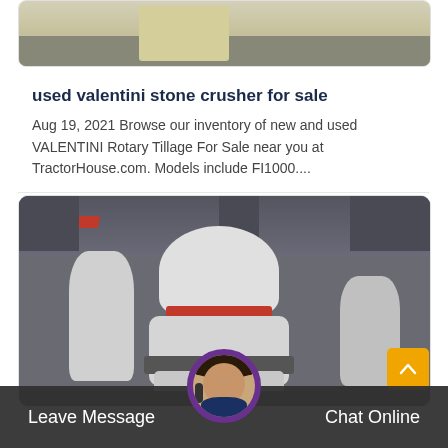[Figure (photo): Top portion of a yellow industrial machine (stone crusher) on a concrete floor, cropped at top]
used valentini stone crusher for sale
Aug 19, 2021 Browse our inventory of new and used VALENTINI Rotary Tillage For Sale near you at TractorHouse.com. Models include FI1000....
[Figure (photo): Industrial warehouse interior with large white cone crusher machines, metal ceiling beams, and red structural elements]
Leave Message
Chat Online